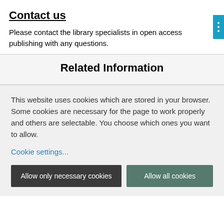Contact us
Please contact the library specialists in open access publishing with any questions.
Related Information
This website uses cookies which are stored in your browser. Some cookies are necessary for the page to work properly and others are selectable. You choose which ones you want to allow.
Cookie settings...
Allow only necessary cookies
Allow all cookies